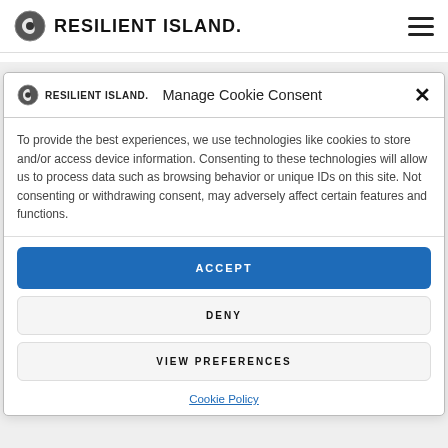RESILIENT ISLAND.
Manage Cookie Consent
To provide the best experiences, we use technologies like cookies to store and/or access device information. Consenting to these technologies will allow us to process data such as browsing behavior or unique IDs on this site. Not consenting or withdrawing consent, may adversely affect certain features and functions.
ACCEPT
DENY
VIEW PREFERENCES
Cookie Policy